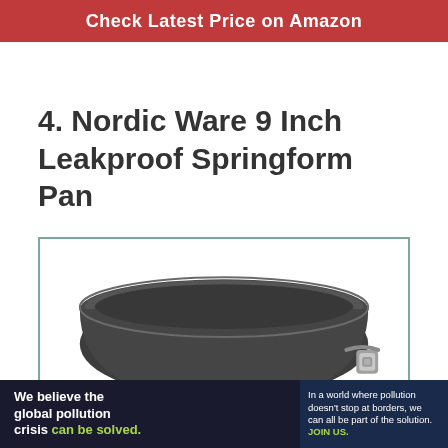Check Latest Price on Amazon
4. Nordic Ware 9 Inch Leakproof Springform Pan
[Figure (photo): Nordic Ware 9 Inch Leakproof Springform Pan product photo — a round dark gray non-stick springform baking pan with metal latch clasp, viewed from slightly above at an angle]
[Figure (infographic): Pure Earth advertisement banner: 'We believe the global pollution crisis can be solved.' with text about global pollution and Pure Earth logo]